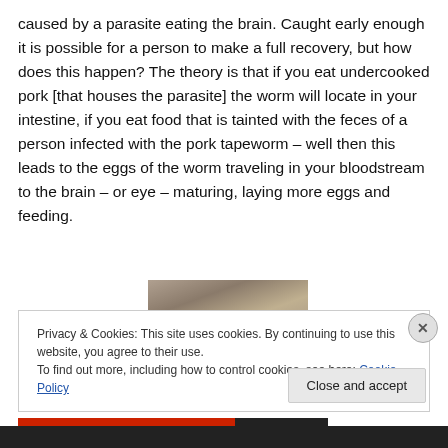caused by a parasite eating the brain. Caught early enough it is possible for a person to make a full recovery, but how does this happen? The theory is that if you eat undercooked pork [that houses the parasite] the worm will locate in your intestine, if you eat food that is tainted with the feces of a person infected with the pork tapeworm – well then this leads to the eggs of the worm traveling in your bloodstream to the brain – or eye – maturing, laying more eggs and feeding.
[Figure (photo): Partial photo of what appears to be a natural/outdoor scene, partially obscured by the cookie consent banner]
Privacy & Cookies: This site uses cookies. By continuing to use this website, you agree to their use.
To find out more, including how to control cookies, see here: Cookie Policy
Close and accept